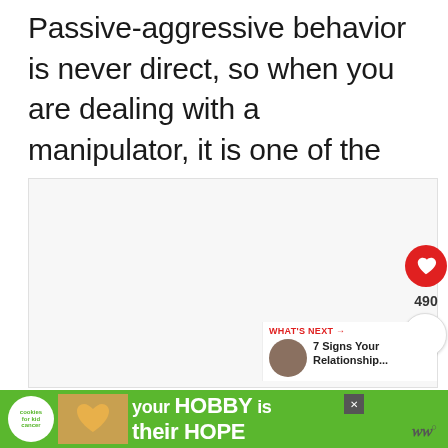Passive-aggressive behavior is never direct, so when you are dealing with a manipulator, it is one of the hardest things to spot.
[Figure (screenshot): Content area with social interaction buttons: a red heart/like button, like count of 490, and a share button. A 'What's Next' recommendation panel shows '7 Signs Your Relationship...' with a thumbnail.]
[Figure (screenshot): Advertisement banner at the bottom: green background with 'cookies for kid cancer' logo, an image of hands holding a heart-shaped cookie, text reading 'your HOBBY is their HOPE', a close button, and a WW logo.]